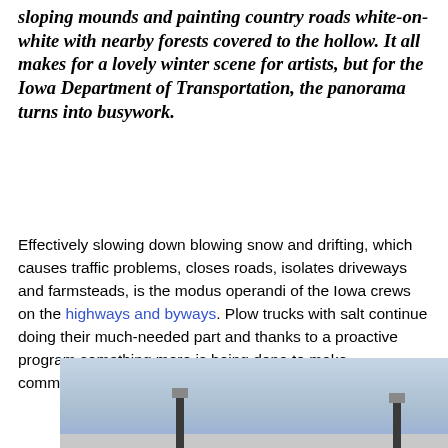sloping mounds and painting country roads white-on-white with nearby forests covered to the hollow. It all makes for a lovely winter scene for artists, but for the Iowa Department of Transportation, the panorama turns into busywork.
Effectively slowing down blowing snow and drifting, which causes traffic problems, closes roads, isolates driveways and farmsteads, is the modus operandi of the Iowa crews on the highways and byways. Plow trucks with salt continue doing their much-needed part and thanks to a proactive program something more is being done to make communities a little safer and more accessible in the winter.
[Figure (photo): Outdoor winter scene showing snow markers or stakes on a snowy landscape under a grey winter sky]